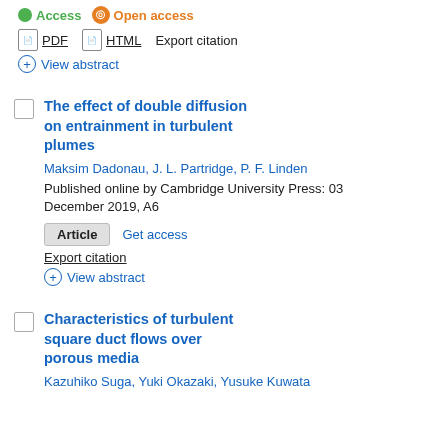Access  Open access
PDF  HTML  Export citation
View abstract
The effect of double diffusion on entrainment in turbulent plumes
Maksim Dadonau, J. L. Partridge, P. F. Linden
Published online by Cambridge University Press: 03 December 2019, A6
Article  Get access
Export citation
View abstract
Characteristics of turbulent square duct flows over porous media
Kazuhiko Suga, Yuki Okazaki, Yusuke Kuwata